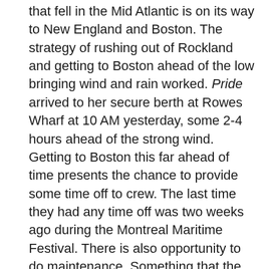that fell in the Mid Atlantic is on its way to New England and Boston. The strategy of rushing out of Rockland and getting to Boston ahead of the low bringing wind and rain worked. Pride arrived to her secure berth at Rowes Wharf at 10 AM yesterday, some 2-4 hours ahead of the strong wind. Getting to Boston this far ahead of time presents the chance to provide some time off to crew. The last time they had any time off was two weeks ago during the Montreal Maritime Festival. There is also opportunity to do maintenance. Something that the crew do at any and every opportunity in order to keep Pride safe and ready to fulfill her long distance voyaging mission.
The Guest Crew that boarded in Montreal are not feeling robbed of any opportunity to sail. The sailing that was accomplished between the Pilot Station at Escumins and Rockland was completely rewarding. Overall the voyage was 1,250 nautical miles assuming no diversion from a